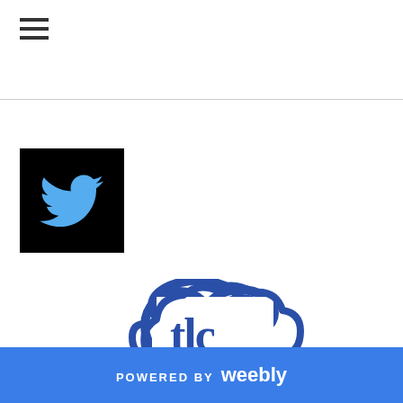[Figure (other): Hamburger menu icon (three horizontal lines)]
[Figure (logo): Twitter logo on black square background - blue bird icon]
[Figure (logo): TLC Book Tours logo - cloud shape in blue with 'tlc' text inside, 'BOOK TOURS' below in blue, 'THE SKY'S THE LIMIT' tagline in gray]
POWERED BY weebly